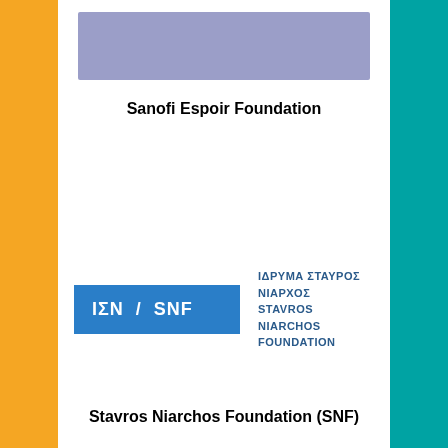[Figure (illustration): Purple/lavender rectangular bar at the top center of the page]
Sanofi Espoir Foundation
[Figure (logo): Stavros Niarchos Foundation logo: blue badge with 'ΙΣΝ / SNF' in white text, next to Greek and English name text in dark blue]
Stavros Niarchos Foundation (SNF)